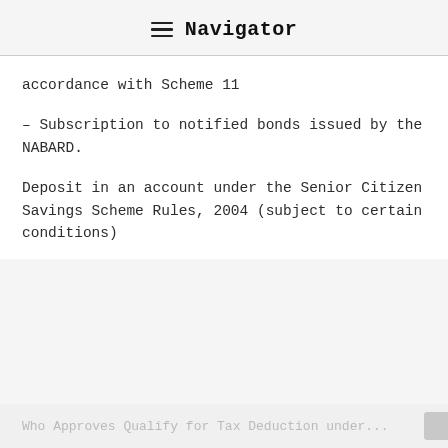Navigator
accordance with Scheme 11
– Subscription to notified bonds issued by the NABARD.
Deposit in an account under the Senior Citizen Savings Scheme Rules, 2004 (subject to certain conditions)
Who Approves Qualify for Tax Deduction under...